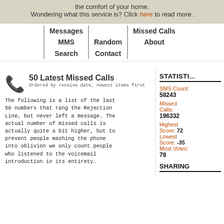the comfort of your home. Wondering what this service is? Click here to read more.
Messages | Missed Calls | MMS | Random | About | Search | Contact
50 Latest Missed Calls
Ordered by receive date, newest items first
The following is a list of the last 50 numbers that rang the Rejection Line, but never left a message. The actual number of missed calls is actually quite a bit higher, but to prevent people mashing the phone into oblivion we only count people who listened to the voicemail introduction in its entirety.
STATISTICS
SMS Count: 58243
Missed Calls: 196332
Highest Score: 72
Lowest Score: -35
Most Votes: 78
SHARING